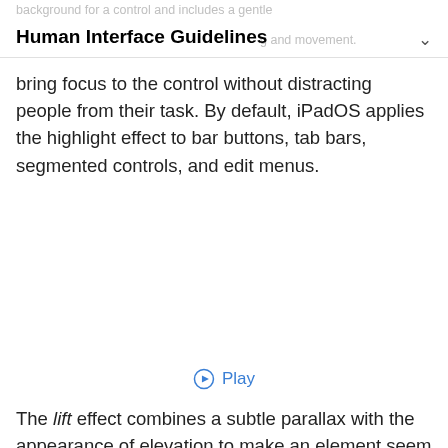Human Interface Guidelines
bring focus to the control without distracting people from their task. By default, iPadOS applies the highlight effect to bar buttons, tab bars, segmented controls, and edit menus.
Play
The lift effect combines a subtle parallax with the appearance of elevation to make an element seem